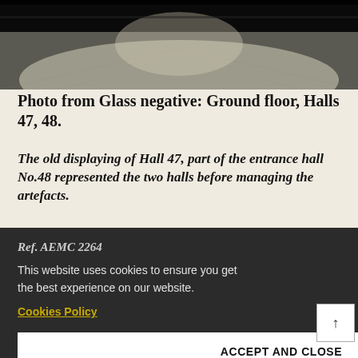[Figure (photo): Black and white photo of a large hall interior with tiled floor and light streaming in. Ground floor, Halls 47 and 48.]
Photo from Glass negative: Ground floor, Halls 47, 48.
The old displaying of Hall 47, part of the entrance hall No.48 represented the two halls before managing the artefacts.
Ref. AEMC 2264
This website uses cookies to ensure you get the best experience on our website.
Cookies Policy
ACCEPT AND CLOSE
[Figure (photo): Black and white photo of a historic building exterior, partially visible at the bottom of the page.]